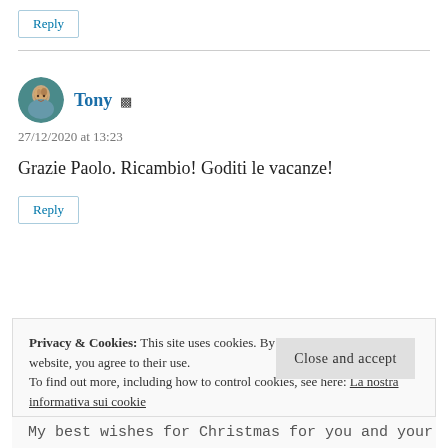Reply
Tony
27/12/2020 at 13:23
Grazie Paolo. Ricambio! Goditi le vacanze!
Reply
Privacy & Cookies: This site uses cookies. By continuing to use this website, you agree to their use.
To find out more, including how to control cookies, see here: La nostra informativa sui cookie
Close and accept
My best wishes for Christmas for you and your